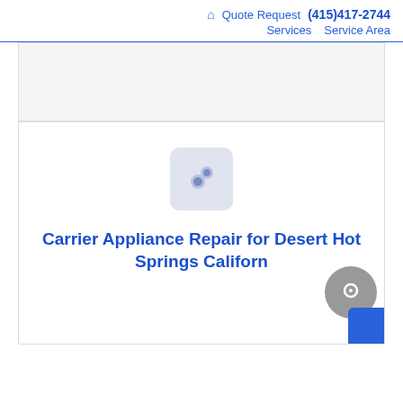🏠 Quote Request (415)417-2744 Services Service Area
[Figure (other): Placeholder image area (gray box, no content visible)]
[Figure (other): Service area content box with gear/settings icon placeholder and title text]
Carrier Appliance Repair for Desert Hot Springs California